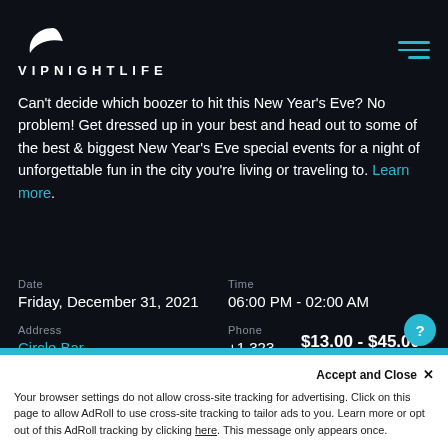[Figure (logo): VIP Nightlife logo with crescent moon icon and text VIPNIGHTLIFE]
Can't decide which boozer to hit this New Year's Eve? No problem! Get dressed up in your best and head out to some of the best & biggest New Year's Eve special events for a night of unforgettable fun in the city you're living or traveling to. Learn more.
| Date | Time |
| --- | --- |
| Friday, December 31, 2021 | 06:00 PM - 02:00 AM |
| Address | Phone |
| Circle Bar | +1 323 |
$13.00 - $45.00
2926 Main St
Accept and Close ✕
Your browser settings do not allow cross-site tracking for advertising. Click on this page to allow AdRoll to use cross-site tracking to tailor ads to you. Learn more or opt out of this AdRoll tracking by clicking here. This message only appears once.